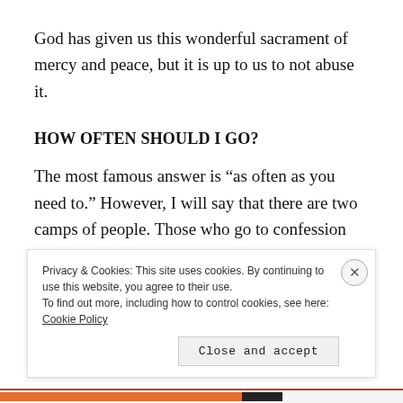God has given us this wonderful sacrament of mercy and peace, but it is up to us to not abuse it.
HOW OFTEN SHOULD I GO?
The most famous answer is “as often as you need to.” However, I will say that there are two camps of people. Those who go to confession way too much (rare, but still exist) and those who do not go enough (the vast majority of people). The people who go too
Privacy & Cookies: This site uses cookies. By continuing to use this website, you agree to their use.
To find out more, including how to control cookies, see here: Cookie Policy
Close and accept